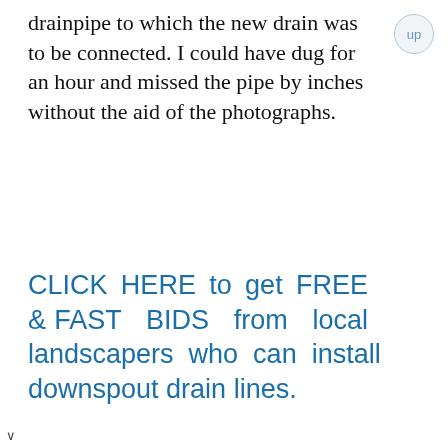drainpipe to which the new drain was to be connected. I could have dug for an hour and missed the pipe by inches without the aid of the photographs.
CLICK HERE to get FREE & FAST BIDS from local landscapers who can install downspout drain lines.
Column 517
SPONSORS /
[Figure (screenshot): Video player placeholder showing 'No compatible source was found for this media.' with an X close icon and a close button in the top right corner.]